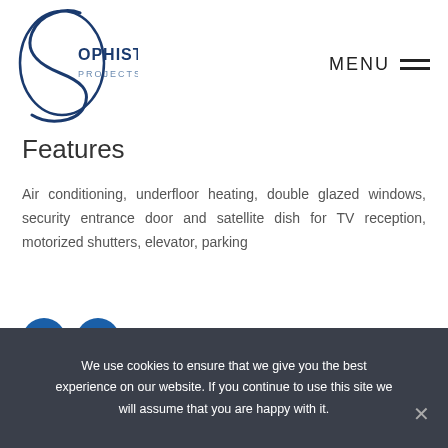[Figure (logo): Sophisticated Projects Estates logo with stylized S and company name]
Features
Air conditioning, underfloor heating, double glazed windows, security entrance door and satellite dish for TV reception, motorized shutters, elevator, parking
[Figure (other): Social media icons: Facebook and LinkedIn]
We use cookies to ensure that we give you the best experience on our website. If you continue to use this site we will assume that you are happy with it.